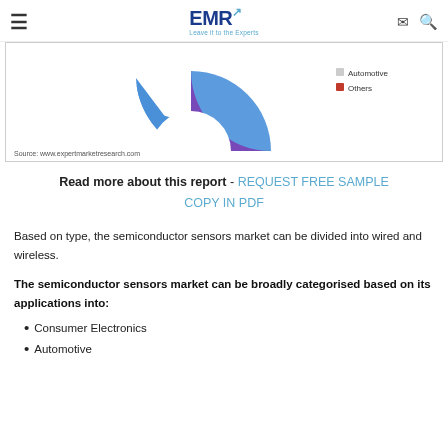EMR - Leave it to the Experts
[Figure (donut-chart): Partial donut chart showing semiconductor sensors market segments, with blue and purple segments visible. Legend shows 'Others' entry. Source: www.expertmarketresearch.com]
Read more about this report - REQUEST FREE SAMPLE COPY IN PDF
Based on type, the semiconductor sensors market can be divided into wired and wireless.
The semiconductor sensors market can be broadly categorised based on its applications into:
Consumer Electronics
Automotive